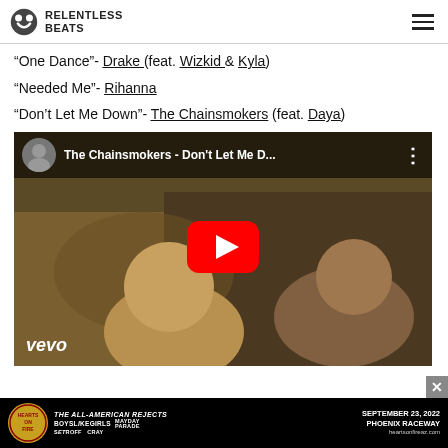RELENTLESS BEATS
“One Dance”- Drake (feat. Wizkid & Kyla)
“Needed Me”- Rihanna
“Don’t Let Me Down”- The Chainsmokers (feat. Daya)
[Figure (screenshot): YouTube video thumbnail for The Chainsmokers - Don't Let Me D... with vevo watermark and red play button]
[Figure (infographic): Advertisement banner for The All-American Rejects, Boys Like Girls, Mayday Parade, Set It Off, Cray - September 23, 2022, Phoenix Raceway, HeartsOnFireAZ.com]